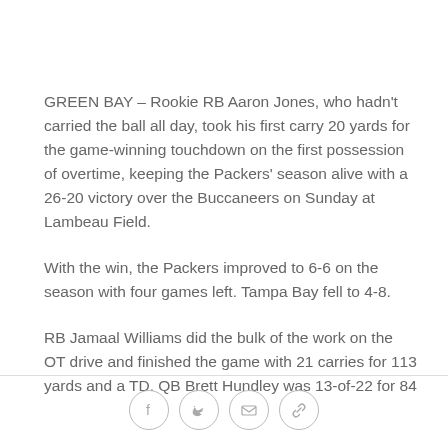GREEN BAY – Rookie RB Aaron Jones, who hadn't carried the ball all day, took his first carry 20 yards for the game-winning touchdown on the first possession of overtime, keeping the Packers' season alive with a 26-20 victory over the Buccaneers on Sunday at Lambeau Field.
With the win, the Packers improved to 6-6 on the season with four games left. Tampa Bay fell to 4-8.
RB Jamaal Williams did the bulk of the work on the OT drive and finished the game with 21 carries for 113 yards and a TD. QB Brett Hundley was 13-of-22 for 84
[social share icons: Facebook, Twitter, Email, Link]